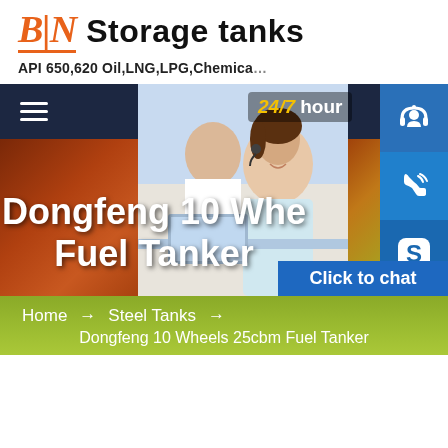[Figure (logo): BIN Storage tanks logo with orange italic BIN text and orange underline, followed by 'Storage tanks' in bold black text]
API 650,620 Oil,LNG,LPG,Chemical
[Figure (screenshot): Navigation bar with hamburger menu on dark navy background, overlapping with customer service photo showing agents and contact icons (headset, phone, Skype) with '24/7 hour' badge]
Dongfeng 10 Whe… Fuel Tanker
Click to chat
Home → Steel Tanks → Dongfeng 10 Wheels 25cbm Fuel Tanker